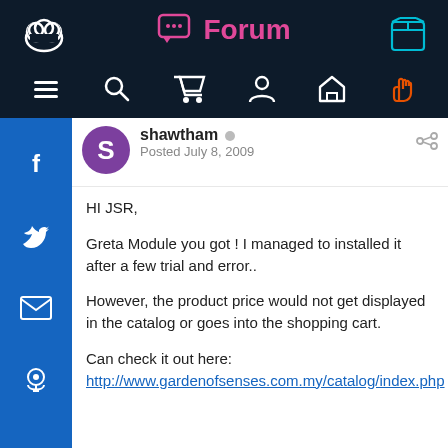Forum
shawtham
Posted July 8, 2009
HI JSR,
Greta Module you got ! I managed to installed it after a few trial and error..
However, the product price would not get displayed in the catalog or goes into the shopping cart.
Can check it out here:
http://www.gardenofsenses.com.my/catalog/index.php